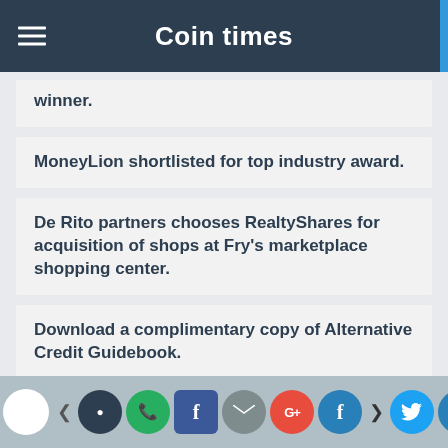Coin times
winner.
MoneyLion shortlisted for top industry award.
De Rito partners chooses RealtyShares for acquisition of shops at Fry's marketplace shopping center.
Download a complimentary copy of Alternative Credit Guidebook.
Share